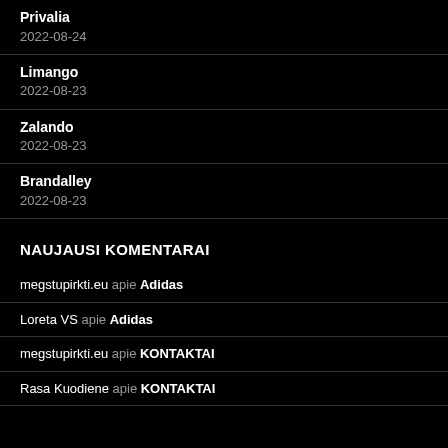Privalia
2022-08-24
Limango
2022-08-23
Zalando
2022-08-23
Brandalley
2022-08-23
NAUJAUSI KOMENTARAI
megstupirkti.eu apie Adidas
Loreta VS apie Adidas
megstupirkti.eu apie KONTAKTAI
Rasa Kuodiene apie KONTAKTAI